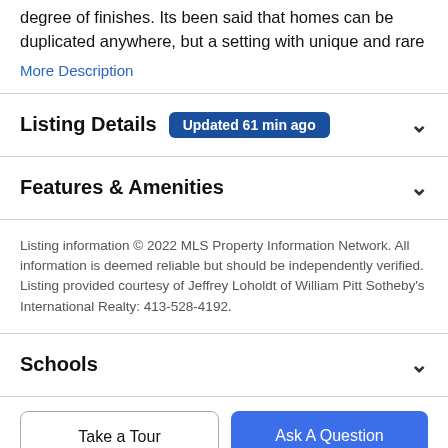degree of finishes. Its been said that homes can be duplicated anywhere, but a setting with unique and rare
More Description
Listing Details  Updated 61 min ago
Features & Amenities
Listing information © 2022 MLS Property Information Network. All information is deemed reliable but should be independently verified. Listing provided courtesy of Jeffrey Loholdt of William Pitt Sotheby's International Realty: 413-528-4192.
Schools
Take a Tour
Ask A Question